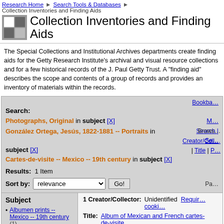Research Home > Search Tools & Databases > Collection Inventories and Finding Aids
Collection Inventories and Finding Aids
The Special Collections and Institutional Archives departments create finding aids for the Getty Research Institute's archival and visual resource collections and for a few historical records of the J. Paul Getty Trust. A "finding aid" describes the scope and contents of a group of records and provides an inventory of materials within the records.
Search: Photographs, Original in subject [X] González Ortega, Jesús, 1822-1881 -- Portraits in subject [X] Cartes-de-visite -- Mexico -- 19th century in subject [X]
Results: 1 Item
Sort by: relevance Go!
Subject
Albumen prints -- Mexico -- 19th century (1)
Cartes-de- [X]
1 Creator/Collector: Unidentified
Title: Album of Mexican and French cartes-de-visite